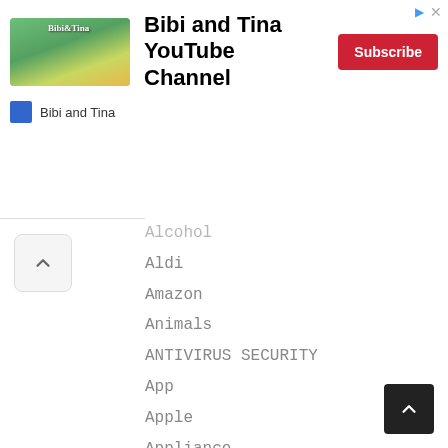[Figure (infographic): Advertisement banner for 'Bibi and Tina YouTube Channel' with animated show image on left, bold title text in center, and a red Subscribe button on the right. Below shows channel icon and name 'Bibi and Tina'.]
Alcohol
Aldi
Amazon
Animals
ANTIVIRUS SECURITY
App
Apple
Appliance
Appliances
Appointment
Apps Games
Atms
Automotive
Autozone